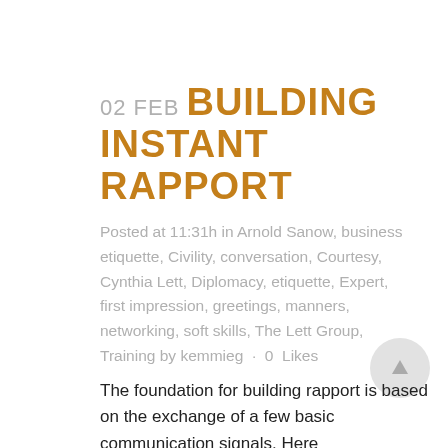02 FEB BUILDING INSTANT RAPPORT
Posted at 11:31h in Arnold Sanow, business etiquette, Civility, conversation, Courtesy, Cynthia Lett, Diplomacy, etiquette, Expert, first impression, greetings, manners, networking, soft skills, The Lett Group, Training by kemmieg · 0 Likes
The foundation for building rapport is based on the exchange of a few basic communication signals. Here